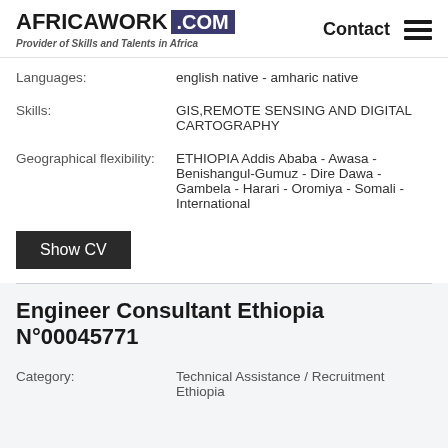AFRICAWORK .COM Provider of Skills and Talents in Africa | Contact
Languages: english native - amharic native
Skills: GIS,REMOTE SENSING AND DIGITAL CARTOGRAPHY
Geographical flexibility: ETHIOPIA Addis Ababa - Awasa - Benishangul-Gumuz - Dire Dawa - Gambela - Harari - Oromiya - Somali - International
Show CV
Engineer Consultant Ethiopia N°00045771
Category: Technical Assistance / Recruitment Ethiopia